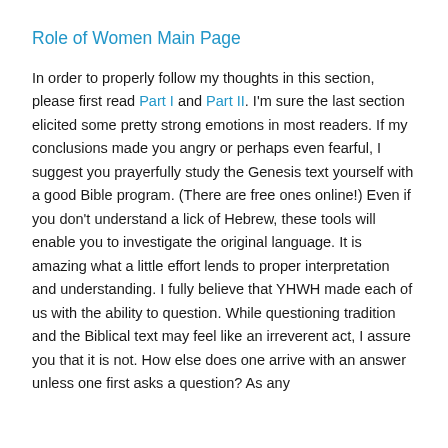Role of Women Main Page
In order to properly follow my thoughts in this section, please first read Part I and Part II. I'm sure the last section elicited some pretty strong emotions in most readers. If my conclusions made you angry or perhaps even fearful, I suggest you prayerfully study the Genesis text yourself with a good Bible program. (There are free ones online!) Even if you don't understand a lick of Hebrew, these tools will enable you to investigate the original language. It is amazing what a little effort lends to proper interpretation and understanding. I fully believe that YHWH made each of us with the ability to question. While questioning tradition and the Biblical text may feel like an irreverent act, I assure you that it is not. How else does one arrive with an answer unless one first asks a question? As any